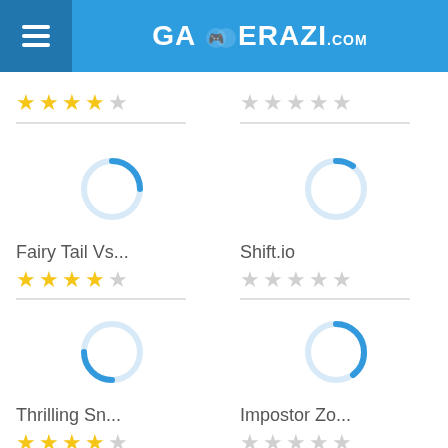GAMERAZI.com
[Figure (other): Star rating row at top: 4 gold stars and 1 gray star on left; 5 gray stars on right]
[Figure (other): Loading spinner circle for Fairy Tail Vs game thumbnail]
Fairy Tail Vs...
[Figure (other): 4 gold stars and 1 gray star rating for Fairy Tail Vs]
[Figure (other): Loading spinner circle for Shift.io game thumbnail]
Shift.io
[Figure (other): 5 gray stars rating for Shift.io]
[Figure (other): Loading spinner circle for Thrilling Sn game thumbnail]
Thrilling Sn...
[Figure (other): 4 gold stars and 1 gray star rating for Thrilling Sn]
[Figure (other): Loading spinner circle for Impostor Zo game thumbnail]
Impostor Zo...
[Figure (other): 5 gray stars rating for Impostor Zo]